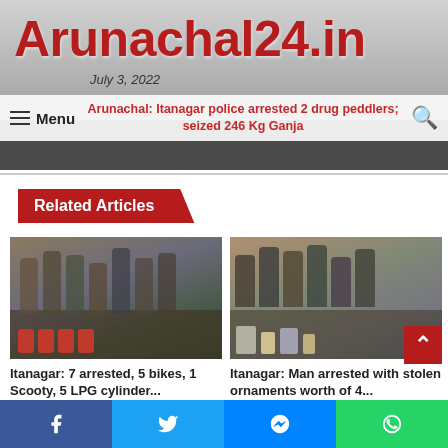Arunachal24.in
July 3, 2022
Menu
Arunachal: Itanagar police arrested 2 drug peddlers; seized 246 Kg Ganja
Related Articles
[Figure (photo): Group photo of arrested persons with seized LPG cylinders and bikes]
Itanagar: 7 arrested, 5 bikes, 1 Scooty, 5 LPG cylinder...
[Figure (photo): Group photo of police with arrested man and stolen ornaments]
Itanagar: Man arrested with stolen ornaments worth of 4...